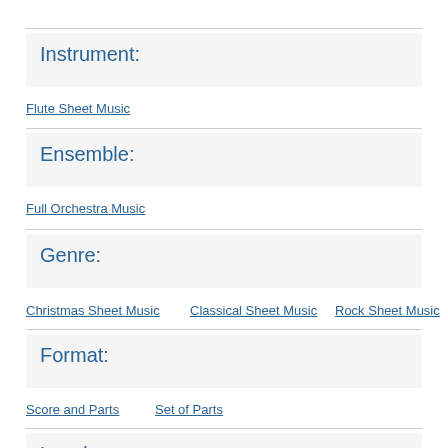Flute Sheet Music (link at top, partially visible)
Instrument:
Flute Sheet Music
Ensemble:
Full Orchestra Music
Genre:
Christmas Sheet Music
Classical Sheet Music
Rock Sheet Music
Format:
Score and Parts
Set of Parts
Level: